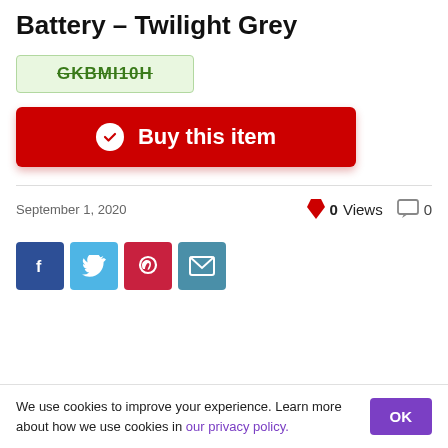Battery – Twilight Grey
GKBMI10H
Buy this item
September 1, 2020
0 Views
0
[Figure (other): Social share buttons: Facebook, Twitter, Pinterest, Email]
We use cookies to improve your experience. Learn more about how we use cookies in our privacy policy.